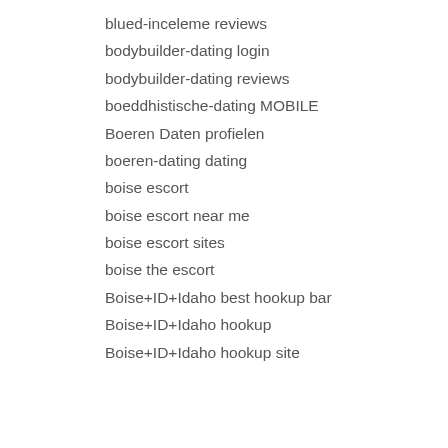blued-inceleme reviews
bodybuilder-dating login
bodybuilder-dating reviews
boeddhistische-dating MOBILE
Boeren Daten profielen
boeren-dating dating
boise escort
boise escort near me
boise escort sites
boise the escort
Boise+ID+Idaho best hookup bar
Boise+ID+Idaho hookup
Boise+ID+Idaho hookup site